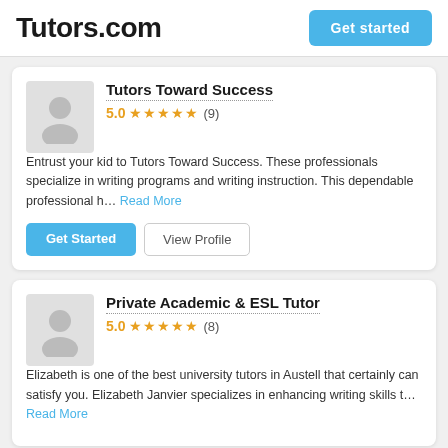Tutors.com
Tutors Toward Success
5.0 ★★★★★ (9)
Entrust your kid to Tutors Toward Success. These professionals specialize in writing programs and writing instruction. This dependable professional h… Read More
Private Academic & ESL Tutor
5.0 ★★★★★ (8)
Elizabeth is one of the best university tutors in Austell that certainly can satisfy you. Elizabeth Janvier specializes in enhancing writing skills t… Read More